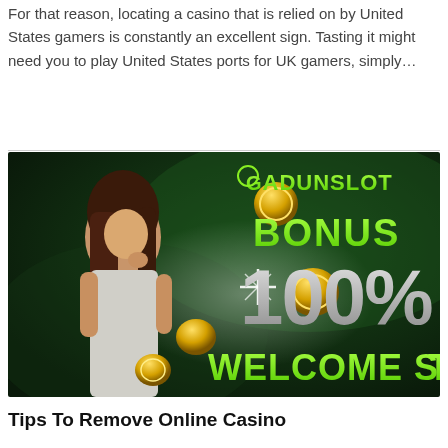For that reason, locating a casino that is relied on by United States gamers is constantly an excellent sign. Tasting it might need you to play United States ports for UK gamers, simply…
[Figure (infographic): Gadunslot casino banner with a woman posing, gold coins, and text reading GADUNSLOT BONUS 100% WELCOME SLOT on a dark green background]
Tips To Remove Online Casino